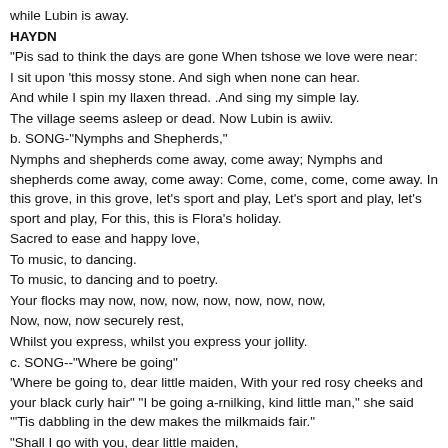while Lubin is away.
HAYDN
"Pis sad to think the days are gone When tshose we love were near:
I sit upon 'this mossy stone. And sigh when none can hear.
And while I spin my llaxen thread. .And sing my simple lay.
The village seems asleep or dead. Now Lubin is awiiv.
b. SONG-"Nymphs and Shepherds,"
Nymphs and shepherds come away, come away; Nymphs and shepherds come away, come away: Come, come, come, come away. In this grove, in this grove, let's sport and play, Let's sport and play, let's sport and play, For this, this is Flora's holiday.
Sacred to ease and happy love,
To music, to dancing.
To music, to dancing and to poetry.
Your flocks may now, now, now, now, now, now, now,
Now, now, now securely rest,
Whilst you express, whilst you express your jollity.
c. SONG--"Where be going"
'Where be going to, dear little maiden, With your red rosy cheeks and your black curly hair" "I be going a-rnilking, kind little man," she said '"Tis dabbling in the dew makes the milkmaids fair."
"Shall I go with you, dear little maiden,